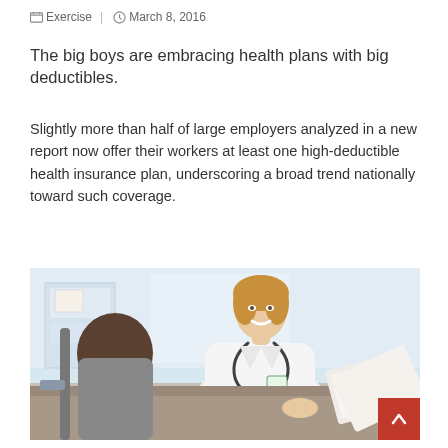Exercise  |  March 8, 2016
The big boys are embracing health plans with big deductibles.
Slightly more than half of large employers analyzed in a new report now offer their workers at least one high-deductible health insurance plan, underscoring a broad trend nationally toward such coverage.
[Figure (photo): A smiling female doctor in a white coat with a stethoscope, sitting across from a patient at a desk in a medical office setting.]